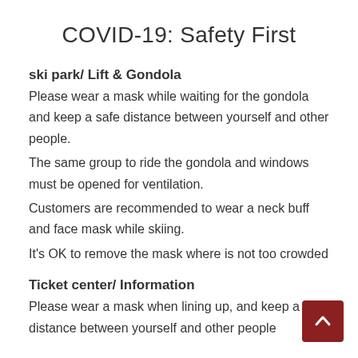COVID-19: Safety First
ski park/ Lift & Gondola
Please wear a mask while waiting for the gondola and keep a safe distance between yourself and other people.
The same group to ride the gondola and windows must be opened for ventilation.
Customers are recommended to wear a neck buff and face mask while skiing.
It's OK to remove the mask where is not too crowded
Ticket center/ Information
Please wear a mask when lining up, and keep a safe distance between yourself and other people